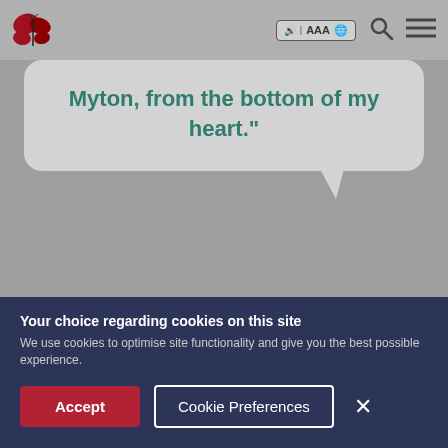Myton Hospice navigation bar with logo and accessibility controls
Myton, from the bottom of my heart.”
This is just one of the activities our Art Therapist Gwen provides to help patients and their families create lasting memories and trinkets to treasure long after their loved one has died.
Your choice regarding cookies on this site
We use cookies to optimise site functionality and give you the best possible experience.
Accept
Cookie Preferences